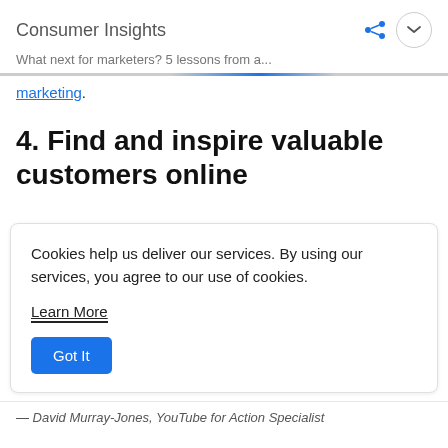Consumer Insights
What next for marketers? 5 lessons from a...
marketing.
4. Find and inspire valuable customers online
Cookies help us deliver our services. By using our services, you agree to our use of cookies.
Learn More
Got It
— David Murray-Jones, YouTube for Action Specialist